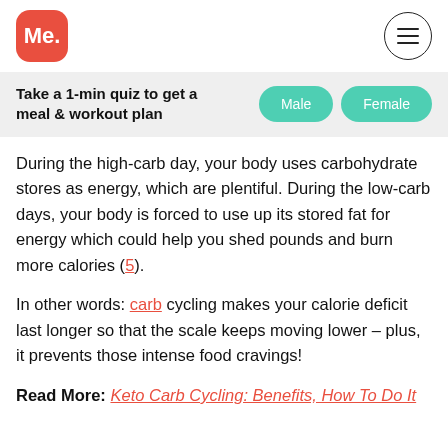[Figure (logo): Me. logo – red rounded square with white text 'Me.']
Take a 1-min quiz to get a meal & workout plan
During the high-carb day, your body uses carbohydrate stores as energy, which are plentiful. During the low-carb days, your body is forced to use up its stored fat for energy which could help you shed pounds and burn more calories (5).
In other words: carb cycling makes your calorie deficit last longer so that the scale keeps moving lower – plus, it prevents those intense food cravings!
Read More: Keto Carb Cycling: Benefits, How To Do It